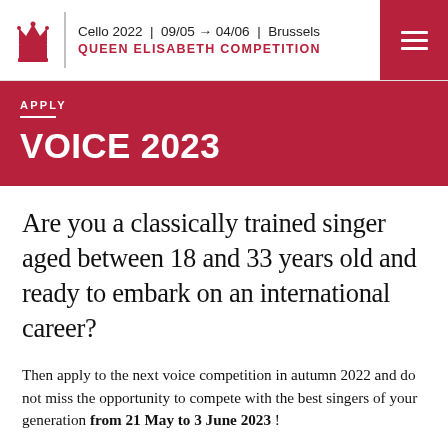Cello 2022 | 09/05 → 04/06 | Brussels QUEEN ELISABETH COMPETITION
APPLY
VOICE 2023
Are you a classically trained singer aged between 18 and 33 years old and ready to embark on an international career?
Then apply to the next voice competition in autumn 2022 and do not miss the opportunity to compete with the best singers of your generation from 21 May to 3 June 2023 !